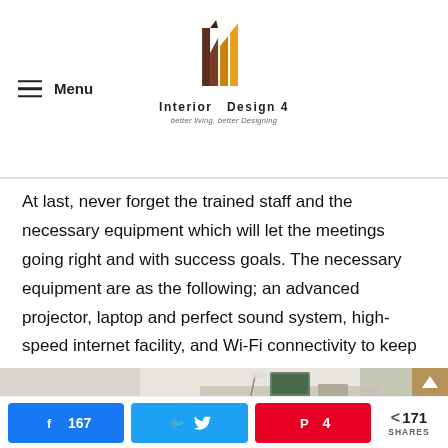Interior Design 4 — better living, better Designing
At last, never forget the trained staff and the necessary equipment which will let the meetings going right and with success goals. The necessary equipment are as the following; an advanced projector, laptop and perfect sound system, high-speed internet facility, and Wi-Fi connectivity to keep up to date with the successful ongoing meetings.
[Figure (photo): Interior room photo showing a bright room with windows, natural light, greenery, and a laptop/printer on a desk]
167 Facebook shares | Twitter share | 4 Pinterest shares | 171 total SHARES